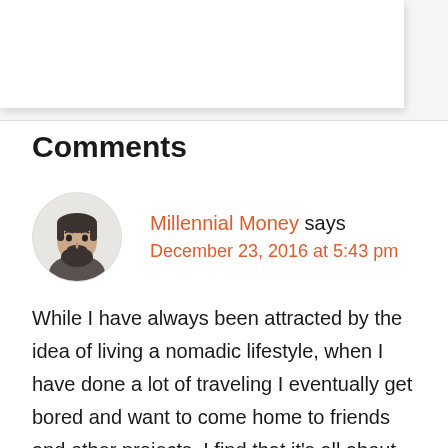Comments
[Figure (photo): Circular avatar photo of a bearded man]
Millennial Money says
December 23, 2016 at 5:43 pm
While I have always been attracted by the idea of living a nomadic lifestyle, when I have done a lot of traveling I eventually get bored and want to come home to friends and other projects. I find that it’s all about balance for me – being able to travel when I